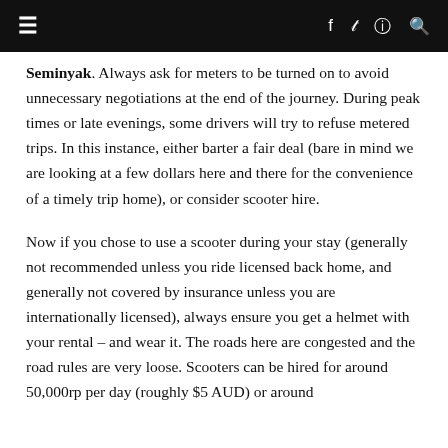≡   f  🐦  ⊙  🔍
Seminyak. Always ask for meters to be turned on to avoid unnecessary negotiations at the end of the journey. During peak times or late evenings, some drivers will try to refuse metered trips. In this instance, either barter a fair deal (bare in mind we are looking at a few dollars here and there for the convenience of a timely trip home), or consider scooter hire.
Now if you chose to use a scooter during your stay (generally not recommended unless you ride licensed back home, and generally not covered by insurance unless you are internationally licensed), always ensure you get a helmet with your rental – and wear it. The roads here are congested and the road rules are very loose. Scooters can be hired for around 50,000rp per day (roughly $5 AUD) or around